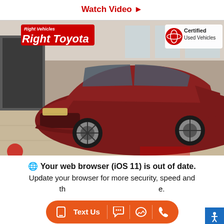Watch Video ▶
[Figure (photo): Red Toyota RAV4 SUV parked inside a dealership showroom. Top-left corner shows Right Toyota dealership logo in red/white. Top-right corner shows Toyota Certified Used Vehicles badge.]
🌐 Your web browser (iOS 11) is out of date. Update your browser for more security, speed and the best experience.
[Figure (screenshot): Orange pill-shaped toolbar with phone/text icons, Text Us label, chat bubble icons, and phone icon. Blue accessibility button in bottom-right corner.]